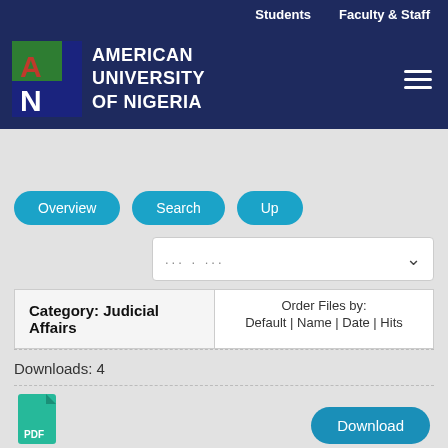Students   Faculty & Staff
[Figure (logo): American University of Nigeria logo with AUN letters in green/red/white on dark background, beside white bold text 'AMERICAN UNIVERSITY OF NIGERIA']
Overview   Search   Up
... . ...
Category: Judicial Affairs   Order Files by: Default | Name | Date | Hits
Downloads: 4
[Figure (illustration): PDF file icon in teal/green color with 'PDF' label]
Download